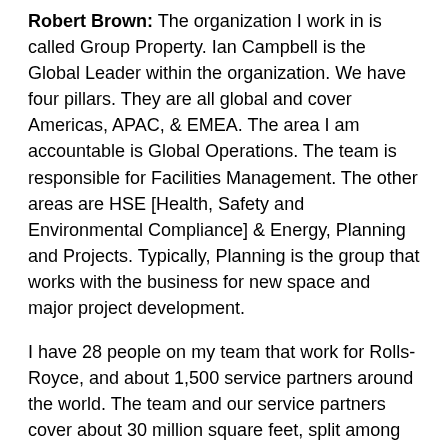Robert Brown: The organization I work in is called Group Property. Ian Campbell is the Global Leader within the organization. We have four pillars. They are all global and cover Americas, APAC, & EMEA. The area I am accountable is Global Operations. The team is responsible for Facilities Management. The other areas are HSE [Health, Safety and Environmental Compliance] & Energy, Planning and Projects. Typically, Planning is the group that works with the business for new space and major project development.
I have 28 people on my team that work for Rolls-Royce, and about 1,500 service partners around the world. The team and our service partners cover about 30 million square feet, split among manufacturing, office and warehouse. We own most of our manufacturing sites and we lease many of our offices. The majority of the space is manufacturing and covers about 65 percent of our portfolio. The largest sites are in Derby, U.K.; Friedrichshafen, Germany; , Indianapolis, USA; and our largest site in APAC in Singapore.
I'm on the road about 60 percent of the time. My travel is to